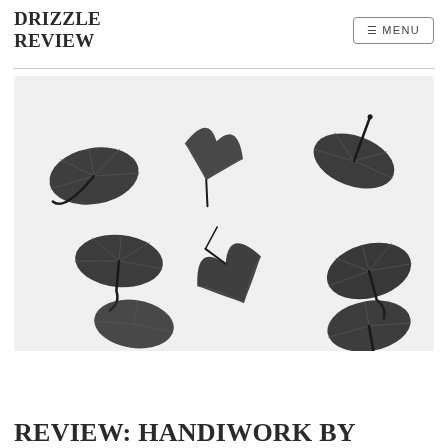DRIZZLE REVIEW
[Figure (illustration): Pencil/charcoal drawing of six dark umbrellas in various states of inversion and tumbling, scattered across a light grey background, suggesting wind-blown chaos.]
REVIEW: HANDIWORK BY